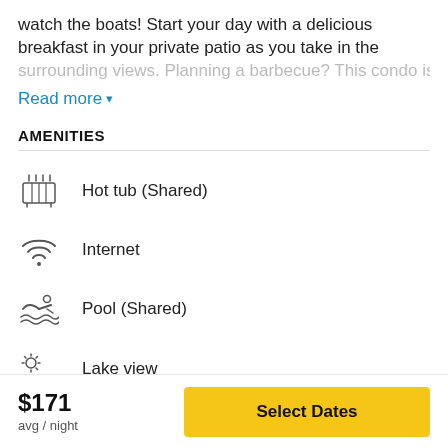watch the boats! Start your day with a delicious breakfast in your private patio as you take in the surrounding views. Planning a barbecue? This condo is
Read more ▾
AMENITIES
Hot tub (Shared)
Internet
Pool (Shared)
Lake view
$171
avg / night
Select Dates